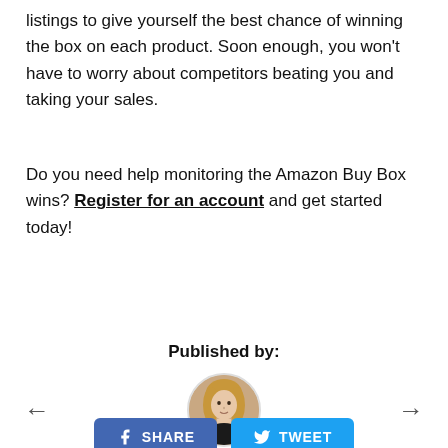listings to give yourself the best chance of winning the box on each product. Soon enough, you won't have to worry about competitors beating you and taking your sales.
Do you need help monitoring the Amazon Buy Box wins? Register for an account and get started today!
Published by:
[Figure (photo): Circular avatar photo of a woman with blonde hair wearing a dark top]
[Figure (other): Navigation arrows: left arrow and right arrow for previous/next content]
[Figure (other): Social share buttons: Facebook SHARE button and Twitter TWEET button]